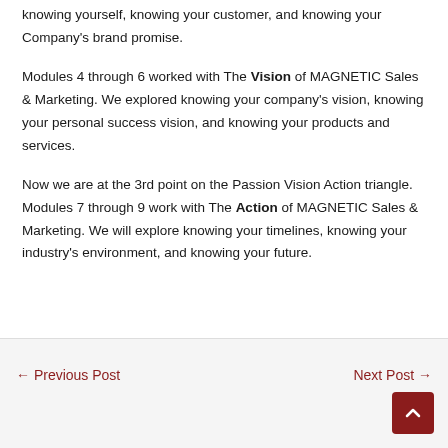knowing yourself, knowing your customer, and knowing your Company's brand promise.
Modules 4 through 6 worked with The Vision of MAGNETIC Sales & Marketing. We explored knowing your company's vision, knowing your personal success vision, and knowing your products and services.
Now we are at the 3rd point on the Passion Vision Action triangle. Modules 7 through 9 work with The Action of MAGNETIC Sales & Marketing. We will explore knowing your timelines, knowing your industry's environment, and knowing your future.
← Previous Post    Next Post →